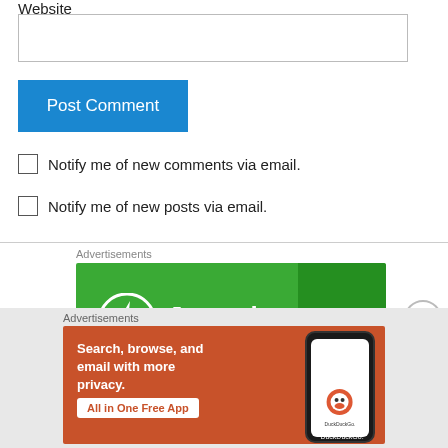Website
[Figure (screenshot): Website text input field (empty, white, bordered)]
[Figure (screenshot): Post Comment button, blue background with white text]
Notify me of new comments via email.
Notify me of new posts via email.
Advertisements
[Figure (screenshot): Jetpack advertisement banner on green background with Jetpack logo and text]
Advertisements
[Figure (screenshot): DuckDuckGo advertisement: Search, browse, and email with more privacy. All in One Free App. Shows phone with DuckDuckGo logo.]